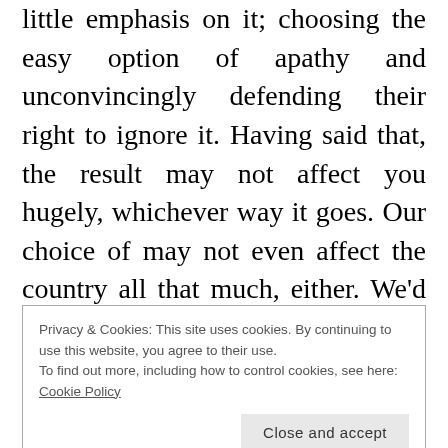little emphasis on it; choosing the easy option of apathy and unconvincingly defending their right to ignore it. Having said that, the result may not affect you hugely, whichever way it goes. Our choice of may not even affect the country all that much, either. We'd find that difficult to prove because when we come to look back on this fork in the road, we'll never really be able to say if the other lot would have done much better or worse. But then again, it
Privacy & Cookies: This site uses cookies. By continuing to use this website, you agree to their use.
To find out more, including how to control cookies, see here: Cookie Policy
Close and accept
that I would watch it all, throughout the night.